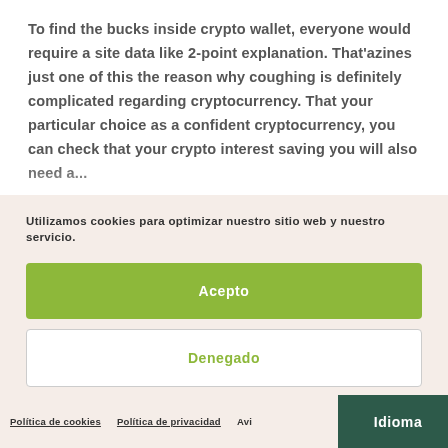To find the bucks inside crypto wallet, everyone would require a site data like 2-point explanation. That'azines just one of this the reason why coughing is definitely complicated regarding cryptocurrency. That your particular choice as a confident cryptocurrency, you can check that your crypto interest saving you will also need a...
Utilizamos cookies para optimizar nuestro sitio web y nuestro servicio.
Acepto
Denegado
Preferencias
Política de cookies · Política de privacidad · Avis... · Idioma